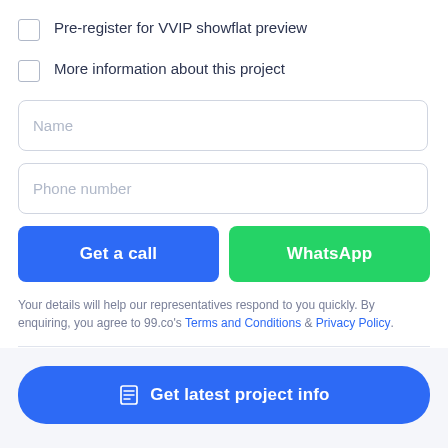Pre-register for VVIP showflat preview
More information about this project
Name
Phone number
Get a call
WhatsApp
Your details will help our representatives respond to you quickly. By enquiring, you agree to 99.co's Terms and Conditions & Privacy Policy.
Get latest project info